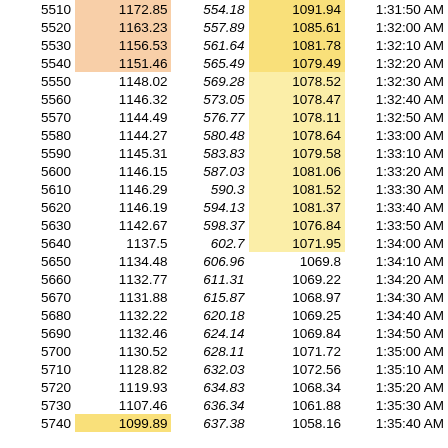|  |  |  |  |  |
| --- | --- | --- | --- | --- |
| 5510 | 1172.85 | 554.18 | 1091.94 | 1:31:50 AM |
| 5520 | 1163.23 | 557.89 | 1085.61 | 1:32:00 AM |
| 5530 | 1156.53 | 561.64 | 1081.78 | 1:32:10 AM |
| 5540 | 1151.46 | 565.49 | 1079.49 | 1:32:20 AM |
| 5550 | 1148.02 | 569.28 | 1078.52 | 1:32:30 AM |
| 5560 | 1146.32 | 573.05 | 1078.47 | 1:32:40 AM |
| 5570 | 1144.49 | 576.77 | 1078.11 | 1:32:50 AM |
| 5580 | 1144.27 | 580.48 | 1078.64 | 1:33:00 AM |
| 5590 | 1145.31 | 583.83 | 1079.58 | 1:33:10 AM |
| 5600 | 1146.15 | 587.03 | 1081.06 | 1:33:20 AM |
| 5610 | 1146.29 | 590.3 | 1081.52 | 1:33:30 AM |
| 5620 | 1146.19 | 594.13 | 1081.37 | 1:33:40 AM |
| 5630 | 1142.67 | 598.37 | 1076.84 | 1:33:50 AM |
| 5640 | 1137.5 | 602.7 | 1071.95 | 1:34:00 AM |
| 5650 | 1134.48 | 606.96 | 1069.8 | 1:34:10 AM |
| 5660 | 1132.77 | 611.31 | 1069.22 | 1:34:20 AM |
| 5670 | 1131.88 | 615.87 | 1068.97 | 1:34:30 AM |
| 5680 | 1132.22 | 620.18 | 1069.25 | 1:34:40 AM |
| 5690 | 1132.46 | 624.14 | 1069.84 | 1:34:50 AM |
| 5700 | 1130.52 | 628.11 | 1071.72 | 1:35:00 AM |
| 5710 | 1128.82 | 632.03 | 1072.56 | 1:35:10 AM |
| 5720 | 1119.93 | 634.83 | 1068.34 | 1:35:20 AM |
| 5730 | 1107.46 | 636.34 | 1061.88 | 1:35:30 AM |
| 5740 | 1099.89 | 637.38 | 1058.16 | 1:35:40 AM |